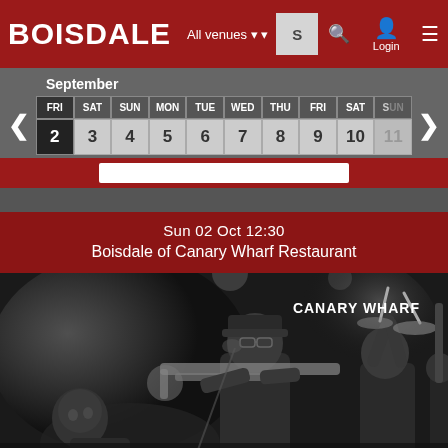BOISDALE
All venues
S
Login
September
| FRI | SAT | SUN | MON | TUE | WED | THU | FRI | SAT | SUN |
| --- | --- | --- | --- | --- | --- | --- | --- | --- | --- |
| 2 | 3 | 4 | 5 | 6 | 7 | 8 | 9 | 10 | 11 |
Sun 02 Oct 12:30
Boisdale of Canary Wharf Restaurant
[Figure (photo): Black and white photo of a jazz band performing live, featuring musicians playing trombone and other instruments. Text overlay reads 'CANARY WHARF' in the upper right.]